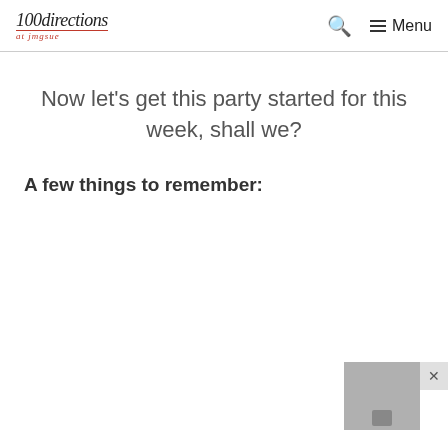100directions at Jmgsue — Search — Menu
Now let's get this party started for this week, shall we?
A few things to remember: